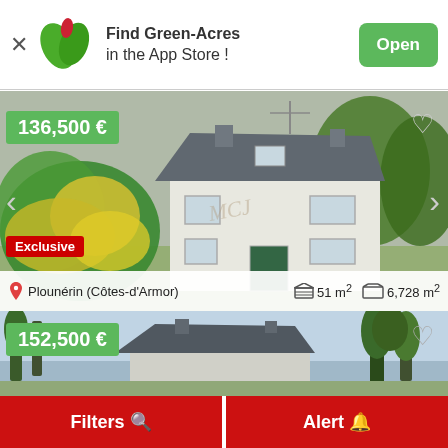Find Green-Acres in the App Store ! Open
[Figure (photo): Photo of a white two-story house with grey slate roof, yellow flowering shrubs in foreground, trees in background. Price badge shows 136,500 €. Exclusive badge. Location: Plounérin (Côtes-d'Armor). 51 m². 6,728 m².]
Plounérin (Côtes-d'Armor)   51 m²   6,728 m²
[Figure (photo): Partial photo of a house with dark grey roof, trees and blue sky. Price badge shows 152,500 €.]
Filters  Alert